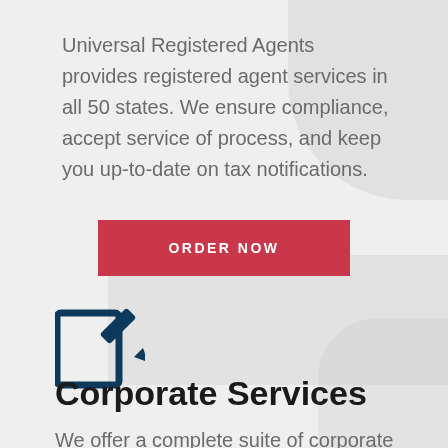Universal Registered Agents provides registered agent services in all 50 states. We ensure compliance, accept service of process, and keep you up-to-date on tax notifications.
[Figure (other): Red rectangular button with white uppercase text 'ORDER NOW']
[Figure (illustration): Dark navy blue icon of a document/notepad with a pencil overlay, indicating editing or writing]
Corporate Services
We offer a complete suite of corporate